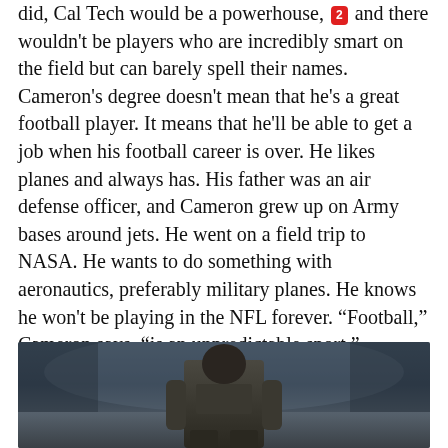did, Cal Tech would be a powerhouse, [2] and there wouldn't be players who are incredibly smart on the field but can barely spell their names. Cameron's degree doesn't mean that he's a great football player. It means that he'll be able to get a job when his football career is over. He likes planes and always has. His father was an air defense officer, and Cameron grew up on Army bases around jets. He went on a field trip to NASA. He wants to do something with aeronautics, preferably military planes. He knows he won't be playing in the NFL forever. “Football,” Cameron says, “is an unpredictable sport.”
“The day you get called in the draft,” his father told him, “is the day you have to start thinking of the day you retire.”
[Figure (photo): Partial photo of a football player (appears to be Cameron) in athletic gear at what looks like a combine or practice, photographed from a low angle. The image is cropped showing roughly the upper body/head portion of the athlete against a blurred stadium/field background.]